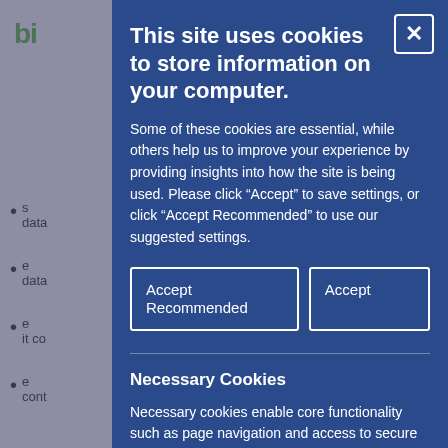[Figure (screenshot): Background webpage partially visible behind cookie consent modal overlay]
This site uses cookies to store information on your computer.
Some of these cookies are essential, while others help us to improve your experience by providing insights into how the site is being used. Please click “Accept” to save settings, or click “Accept Recommended” to use our suggested settings.
Accept Recommended | Accept
Necessary Cookies
Necessary cookies enable core functionality such as page navigation and access to secure areas. The website cannot function properly without